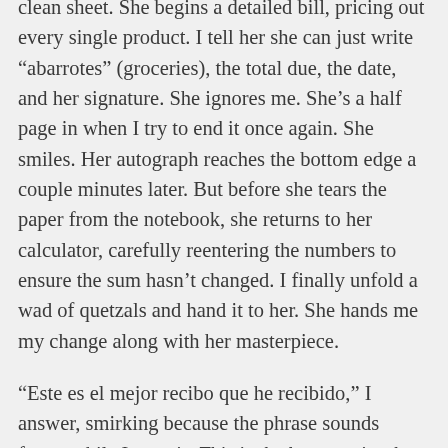clean sheet. She begins a detailed bill, pricing out every single product. I tell her she can just write “abarrotes” (groceries), the total due, the date, and her signature. She ignores me. She’s a half page in when I try to end it once again. She smiles. Her autograph reaches the bottom edge a couple minutes later. But before she tears the paper from the notebook, she returns to her calculator, carefully reentering the numbers to ensure the sum hasn’t changed. I finally unfold a wad of quetzals and hand it to her. She hands me my change along with her masterpiece.
“Este es el mejor recibo que he recibido,” I answer, smirking because the phrase sounds funny while I utter it. This is the best receipt that I have received.